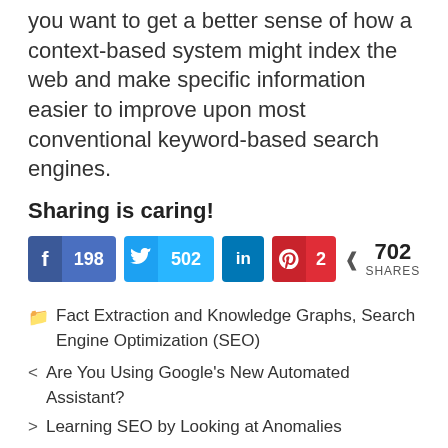you want to get a better sense of how a context-based system might index the web and make specific information easier to improve upon most conventional keyword-based search engines.
Sharing is caring!
[Figure (infographic): Social sharing buttons showing Facebook 198, Twitter 502, LinkedIn, Pinterest 2, and total 702 SHARES]
Fact Extraction and Knowledge Graphs, Search Engine Optimization (SEO)
< Are You Using Google's New Automated Assistant?
> Learning SEO by Looking at Anomalies